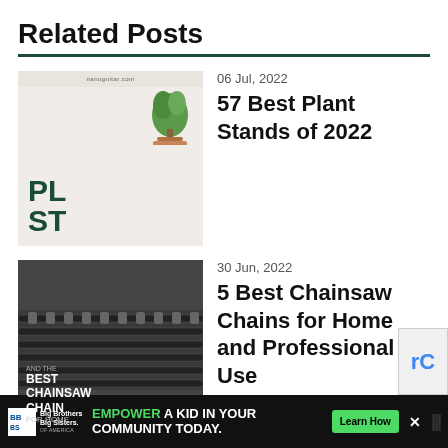Related Posts
[Figure (photo): Thumbnail for plant stands article — light tan background with dark green bold text 'PLA STA' and a small plant in a pot with a wooden stand visible]
06 Jul, 2022
57 Best Plant Stands of 2022
[Figure (photo): Thumbnail for chainsaw chains article — dark gray/black background showing a close-up of chainsaw chain with white bold text 'BEST CHAINSAW CHAIN']
30 Jun, 2022
5 Best Chainsaw Chains for Home and Professional Use
[Figure (photo): Thumbnail for sweepers article — dark background with large yellow text 'SWEEP RAKE' and white text 'Pine N...']
14 Jun, 2022
5 Best Sweepers and Rakers for Pi...
[Figure (screenshot): Advertisement banner — Big Brothers Big Sisters logo on black background, green text 'EMPOWER A KID IN YOUR COMMUNITY TODAY.' with green 'Learn How' button]